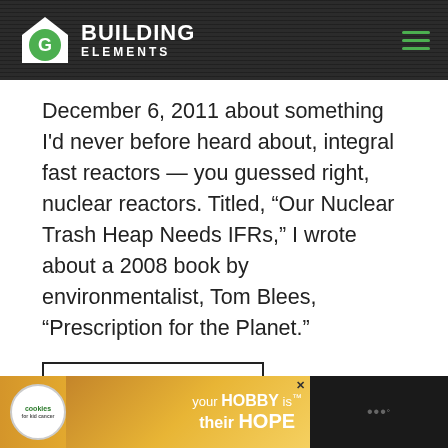Building Elements
December 6, 2011 about something I'd never before heard about, integral fast reactors — you guessed right, nuclear reactors. Titled, “Our Nuclear Trash Heap Needs IFRs,” I wrote about a 2008 book by environmentalist, Tom Blees, “Prescription for the Planet.”
CONTINUE READING →
[Figure (photo): Advertisement banner for cookies for kid cancer charity - your HOBBY is their HOPE]